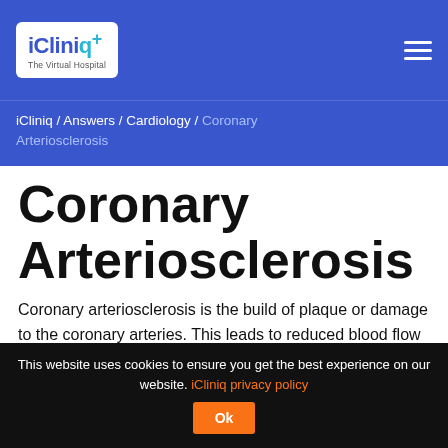iCliniq | The Virtual Hospital
iCliniq / Answers / Cardiology / Coronary Arteriosclerosis
Coronary Arteriosclerosis
Coronary arteriosclerosis is the build of plaque or damage to the coronary arteries. This leads to reduced blood flow to the heart. Chest pain, shortness of breath, heart attack, fatigue, etc., are the symptoms of coronary arteriosclerosis. Treatment is
This website uses cookies to ensure you get the best experience on our website. iCliniq privacy policy Ok